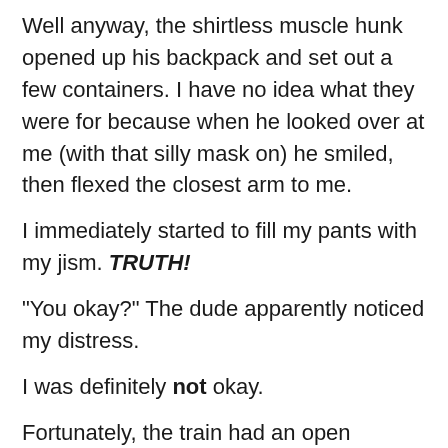Well anyway, the shirtless muscle hunk opened up his backpack and set out a few containers. I have no idea what they were for because when he looked over at me (with that silly mask on) he smiled, then flexed the closest arm to me.
I immediately started to fill my pants with my jism. TRUTH!
"You okay?" The dude apparently noticed my distress.
I was definitely not okay.
Fortunately, the train had an open sleeping berth. And well, the rest is up to your imagination.
OH! And guess what?! OWEN CHAPTER 6 is up!